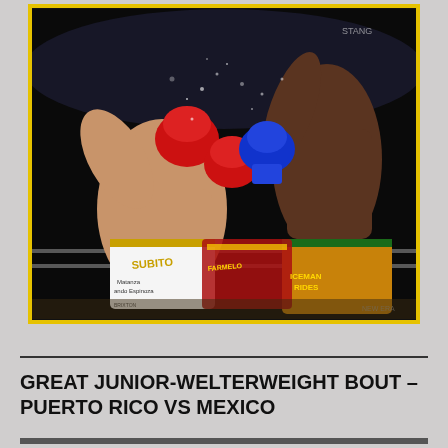[Figure (photo): Action boxing photograph showing two fighters in a ring exchanging punches. Left fighter wearing red gloves, white trunks with 'SUBITO' text and colorful sponsor logos including 'Matanza' and 'Ando Espinoza'. Right fighter wearing blue gloves and gold/green trunks. Dark arena background with dust/sweat flying. Yellow border frame around the image.]
GREAT JUNIOR-WELTERWEIGHT BOUT – PUERTO RICO VS MEXICO